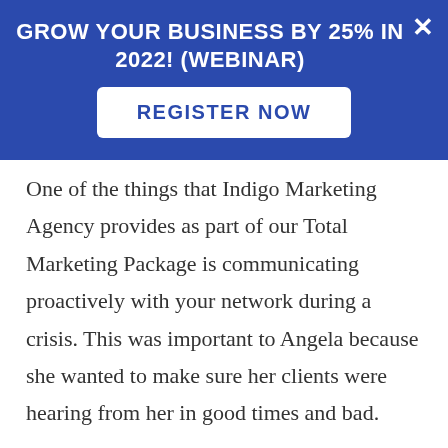GROW YOUR BUSINESS BY 25% IN 2022! (WEBINAR)
[Figure (other): Register Now button — white rounded rectangle on blue background with blue uppercase text 'REGISTER NOW']
One of the things that Indigo Marketing Agency provides as part of our Total Marketing Package is communicating proactively with your network during a crisis. This was important to Angela because she wanted to make sure her clients were hearing from her in good times and bad.
When the market experiences volatility, or a crisis like the coronavirus hits, we keep our